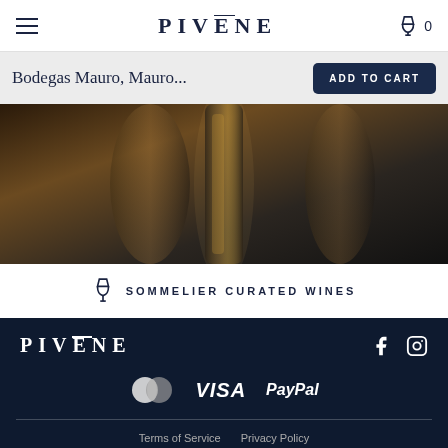PIVĒNE
Bodegas Mauro, Mauro...
ADD TO CART
[Figure (photo): Dark wine bottle product photo with amber and dark brown tones]
SOMMELIER CURATED WINES
[Figure (logo): PIVĒNE logo in white on dark navy background, with Facebook and Instagram social icons]
[Figure (infographic): Payment icons: Mastercard, VISA, PayPal]
Terms of Service    Privacy Policy
© 2022 PIVENE. All Rights Reserved. Designed by 360&5.